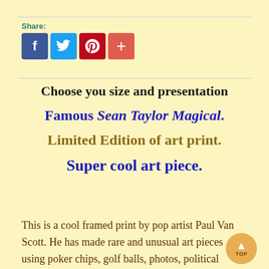[Figure (other): Social share buttons: Facebook (blue), Twitter (light blue), Pinterest (red), and a plus/share button (salmon red), preceded by 'Share:' label in teal]
Choose you size and presentation
Famous Sean Taylor Magical. Limited Edition of art print. Super cool art piece.
This is a cool framed print by pop artist Paul Van Scott. He has made rare and unusual art pieces using poker chips, golf balls, photos, political buttons,